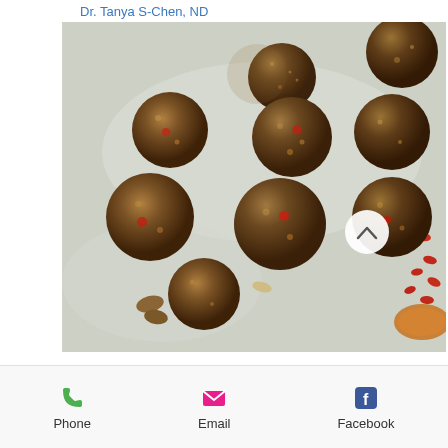Dr. Tanya S-Chen, ND
[Figure (photo): Overhead photo of multiple round energy/protein balls coated in crushed nuts and seeds, scattered on a light surface with goji berries, pecans, walnuts, and dried apricots. A circular scroll-up button with a chevron icon is visible in the lower-right area of the image.]
Phone   Email   Facebook